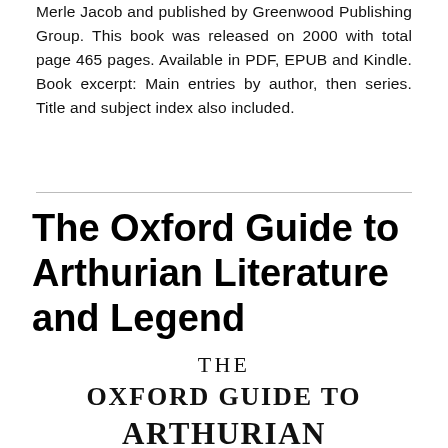Merle Jacob and published by Greenwood Publishing Group. This book was released on 2000 with total page 465 pages. Available in PDF, EPUB and Kindle. Book excerpt: Main entries by author, then series. Title and subject index also included.
The Oxford Guide to Arthurian Literature and Legend
[Figure (illustration): Book cover showing 'THE OXFORD GUIDE TO ARTHURIAN' text in serif font, partial cover visible at bottom of page]